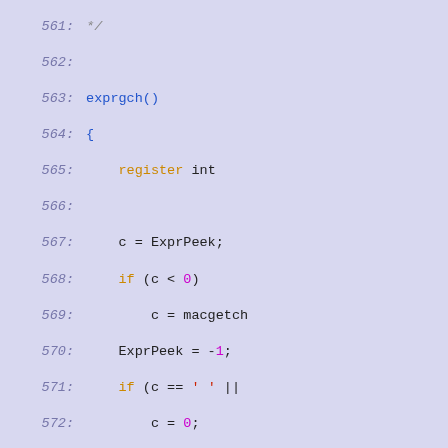[Figure (screenshot): Source code listing in C with line numbers 561-590, showing exprgch() and popop() functions with syntax highlighting on a light blue/lavender background.]